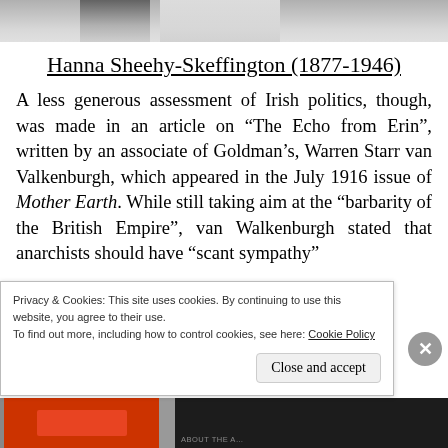[Figure (photo): Partial black and white photograph strip at top of page, showing portions of one or more people]
Hanna Sheehy-Skeffington (1877-1946)
A less generous assessment of Irish politics, though, was made in an article on “The Echo from Erin”, written by an associate of Goldman’s, Warren Starr van Valkenburgh, which appeared in the July 1916 issue of Mother Earth. While still taking aim at the “barbarity of the British Empire”, van Walkenburgh stated that anarchists should have “scant sympathy”
Privacy & Cookies: This site uses cookies. By continuing to use this website, you agree to their use.
To find out more, including how to control cookies, see here: Cookie Policy
Close and accept